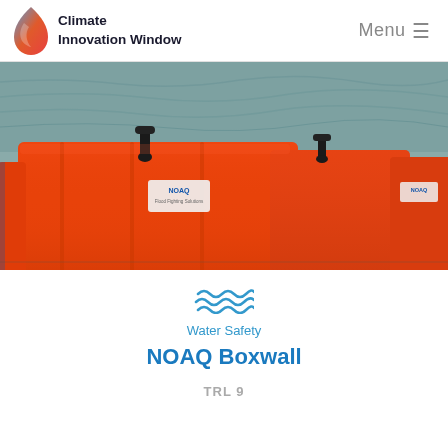Climate Innovation Window  Menu
[Figure (photo): Row of orange NOAQ flood barrier boxes (Boxwall units) lined up at the edge of water, with black clamp handles visible on top, and NOAQ labels on the sides.]
[Figure (illustration): Three wavy lines icon representing water/water safety category]
Water Safety
NOAQ Boxwall
TRL 9